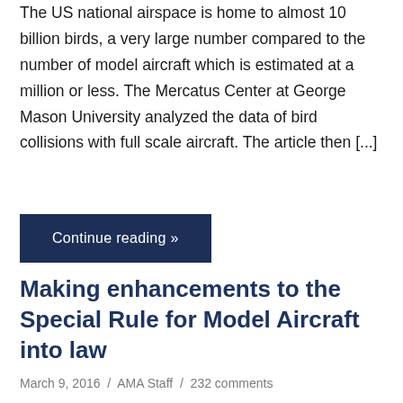The US national airspace is home to almost 10 billion birds, a very large number compared to the number of model aircraft which is estimated at a million or less. The Mercatus Center at George Mason University analyzed the data of bird collisions with full scale aircraft. The article then [...]
Continue reading »
Making enhancements to the Special Rule for Model Aircraft into law
March 9, 2016  /  AMA Staff  /  232 comments